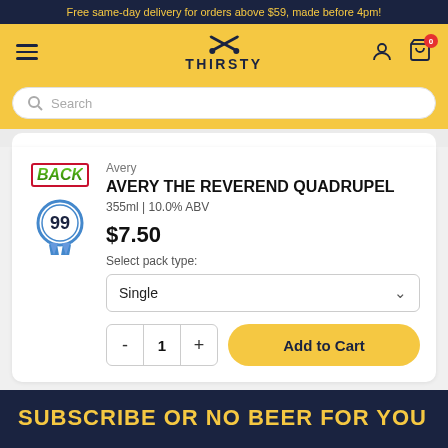Free same-day delivery for orders above $59, made before 4pm!
[Figure (logo): Thirsty logo with crossed bottles icon and text THIRSTY]
Search
Avery
AVERY THE REVEREND QUADRUPEL
355ml | 10.0% ABV
$7.50
Select pack type:
Single
- 1 +
Add to Cart
SUBSCRIBE OR NO BEER FOR YOU